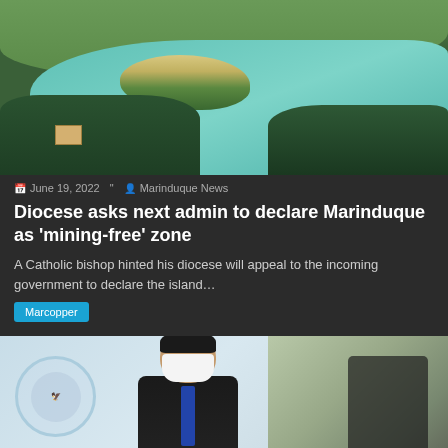[Figure (photo): Aerial photo of a green forested island with a turquoise lake/bay, showing a small sandy island formation and dense tropical trees]
June 19, 2022  Marinduque News
Diocese asks next admin to declare Marinduque as 'mining-free' zone
A Catholic bishop hinted his diocese will appeal to the incoming government to declare the island…
Marcopper
[Figure (photo): Photo of a person wearing a face mask standing in front of a House of Representatives seal, with 'PLENARY HALL' text visible at the bottom]